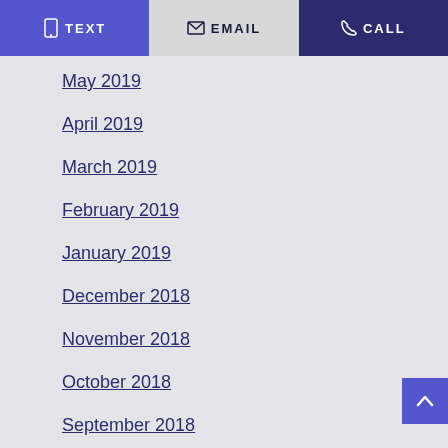TEXT | EMAIL | CALL
May 2019
April 2019
March 2019
February 2019
January 2019
December 2018
November 2018
October 2018
September 2018
August 2018
December 2016